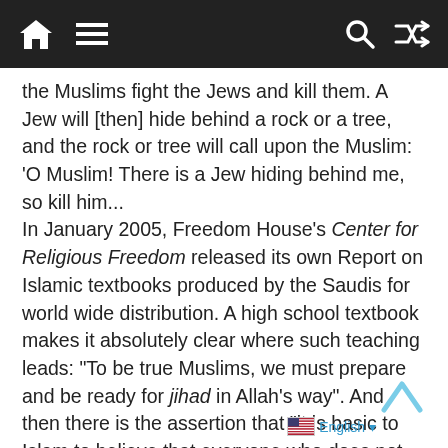Navigation bar with home, menu, search, and shuffle icons
the Muslims fight the Jews and kill them. A Jew will [then] hide behind a rock or a tree, and the rock or tree will call upon the Muslim: ‘O Muslim! There is a Jew hiding behind me, so kill him... In January 2005, Freedom House’s Center for Religious Freedom released its own Report on Islamic textbooks produced by the Saudis for world wide distribution. A high school textbook makes it absolutely clear where such teaching leads: “To be true Muslims, we must prepare and be ready for jihad in Allah’s way”. And then there is the assertion that “it is basic to Islam to believe that everyone who does not embrace Islam is an unbeliever, and that they are enemies to Allah, his prophet and believers”. The textbooks express absolute opposition to any believing Muslim working for an